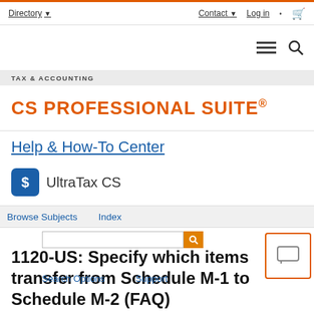Directory ▾    Contact ▾    Log in    🛒
TAX & ACCOUNTING
CS PROFESSIONAL SUITE®
Help & How-To Center
[Figure (logo): UltraTax CS logo – blue square with dollar sign icon followed by text UltraTax CS]
Browse Subjects    Index
1120-US: Specify which items transfer from Schedule M-1 to Schedule M-2 (FAQ)